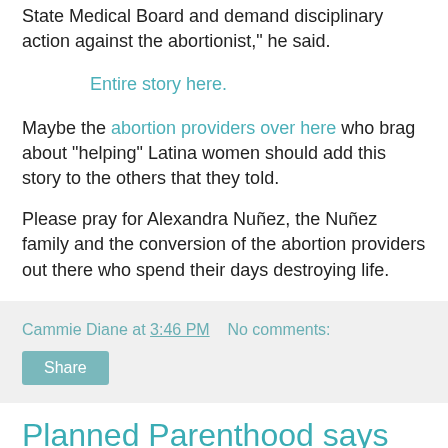State Medical Board and demand disciplinary action against the abortionist," he said.
Entire story here.
Maybe the abortion providers over here who brag about "helping" Latina women should add this story to the others that they told.
Please pray for Alexandra Nuñez, the Nuñez family and the conversion of the abortion providers out there who spend their days destroying life.
Cammie Diane at 3:46 PM   No comments:
Share
Planned Parenthood says "Young People are Sexual Beings"
I first ran this article over at A Catholic View. It talked about